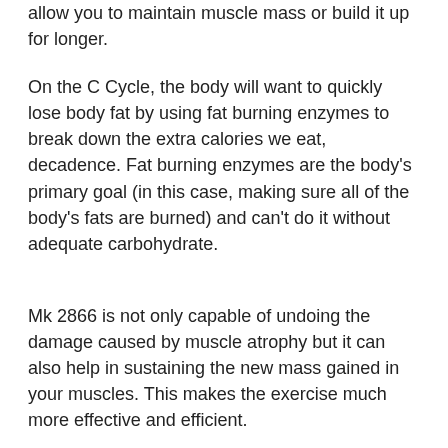allow you to maintain muscle mass or build it up for longer.
On the C Cycle, the body will want to quickly lose body fat by using fat burning enzymes to break down the extra calories we eat, decadence. Fat burning enzymes are the body's primary goal (in this case, making sure all of the body's fats are burned) and can't do it without adequate carbohydrate.
Mk 2866 is not only capable of undoing the damage caused by muscle atrophy but it can also help in sustaining the new mass gained in your muscles. This makes the exercise much more effective and efficient.
In fact, this exercise is not only effective for muscle growth but it can also help in